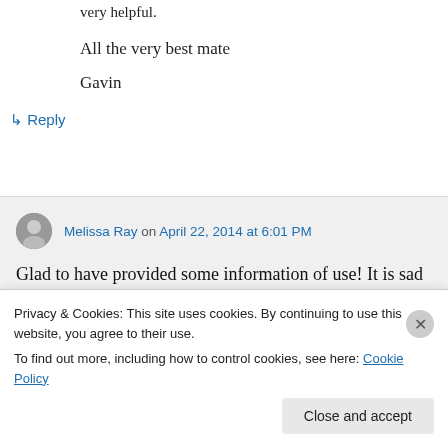very helpful.
All the very best mate
Gavin
↳ Reply
Melissa Ray on April 22, 2014 at 6:01 PM
Glad to have provided some information of use! It is sad about the old stadium (now
Privacy & Cookies: This site uses cookies. By continuing to use this website, you agree to their use. To find out more, including how to control cookies, see here: Cookie Policy
Close and accept